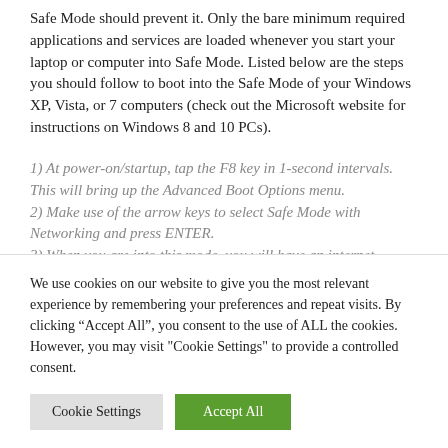Safe Mode should prevent it. Only the bare minimum required applications and services are loaded whenever you start your laptop or computer into Safe Mode. Listed below are the steps you should follow to boot into the Safe Mode of your Windows XP, Vista, or 7 computers (check out the Microsoft website for instructions on Windows 8 and 10 PCs).
1) At power-on/startup, tap the F8 key in 1-second intervals. This will bring up the Advanced Boot Options menu.
2) Make use of the arrow keys to select Safe Mode with Networking and press ENTER.
3) When you are into this mode, you will have an internet connection again. Now, use your web browser to download and install antivirus software.
We use cookies on our website to give you the most relevant experience by remembering your preferences and repeat visits. By clicking “Accept All”, you consent to the use of ALL the cookies. However, you may visit "Cookie Settings" to provide a controlled consent.